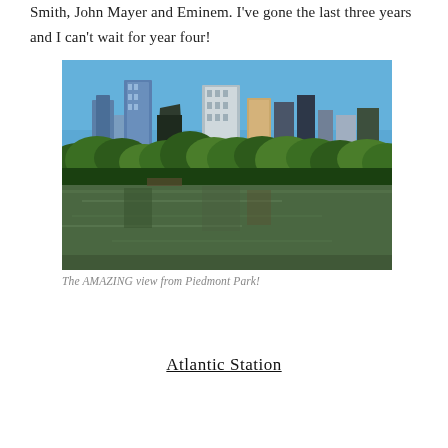Smith, John Mayer and Eminem. I've gone the last three years and I can't wait for year four!
[Figure (photo): City skyline of Atlanta viewed from Piedmont Park, with green trees and a reflective lake in the foreground, under a clear blue sky.]
The AMAZING view from Piedmont Park!
Atlantic Station